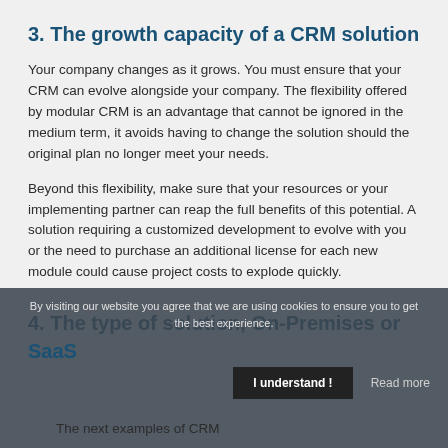3. The growth capacity of a CRM solution
Your company changes as it grows. You must ensure that your CRM can evolve alongside your company. The flexibility offered by modular CRM is an advantage that cannot be ignored in the medium term, it avoids having to change the solution should the original plan no longer meet your needs.
Beyond this flexibility, make sure that your resources or your implementing partner can reap the full benefits of this potential. A solution requiring a customized development to evolve with you or the need to purchase an additional license for each new module could cause project costs to explode quickly.
4. The type of solution, On-Premises or SaaS
By visiting our website you agree that we are using cookies to ensure you to get the best experience.
The next examples of CRM...